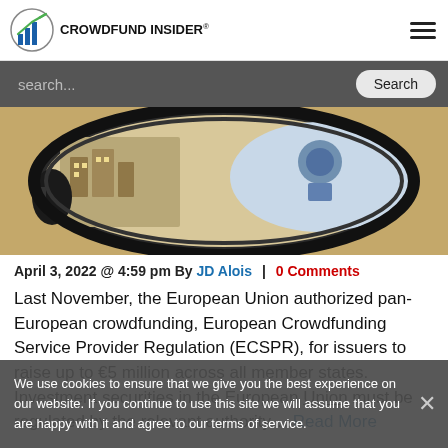[Figure (logo): Crowdfund Insider logo with bar chart icon]
[Figure (photo): Close-up photo of a globe through a circular lens/magnifier showing illustrated map details]
April 3, 2022 @ 4:59 pm By JD Alois | 0 Comments
Last November, the European Union authorized pan-European crowdfunding, European Crowdfunding Service Provider Regulation (ECSPR), for issuers to raise up to €5 million across all member states. Investment securities in the European Union must be regulated by the relevant authority… Read More
We use cookies to ensure that we give you the best experience on our website. If you continue to use this site we will assume that you are happy with it and agree to our terms of service.